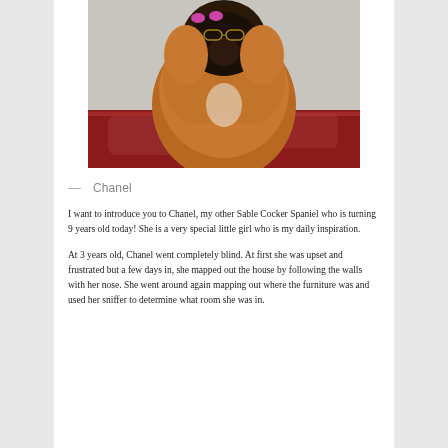[Figure (photo): A fluffy Sable Cocker Spaniel dog with pink bows in its fur, sitting on a red floral rug against a light gray floor background.]
— Chanel
I want to introduce you to Chanel, my other Sable Cocker Spaniel who is turning 9 years old today! She is a very special little girl who is my daily inspiration.
At 3 years old, Chanel went completely blind. At first she was upset and frustrated but a few days in, she mapped out the house by following the walls with her nose. She went around again mapping out where the furniture was and used her sniffer to determine what room she was in.